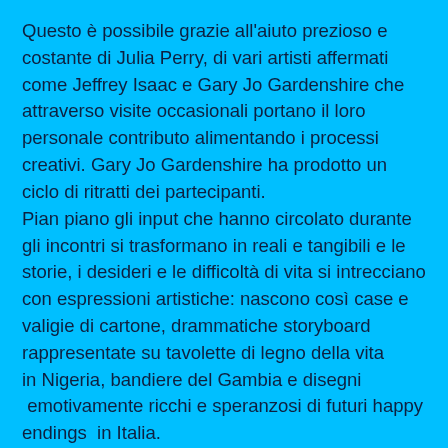Questo è possibile grazie all'aiuto prezioso e costante di Julia Perry, di vari artisti affermati come Jeffrey Isaac e Gary Jo Gardenshire che attraverso visite occasionali portano il loro personale contributo alimentando i processi creativi. Gary Jo Gardenshire ha prodotto un ciclo di ritratti dei partecipanti.
Pian piano gli input che hanno circolato durante gli incontri si trasformano in reali e tangibili e le storie, i desideri e le difficoltà di vita si intrecciano con espressioni artistiche: nascono così case e valigie di cartone, drammatiche storyboard rappresentate su tavolette di legno della vita in Nigeria, bandiere del Gambia e disegni emotivamente ricchi e speranzosi di futuri happy endings in Italia.
Un mix di speranze, esplorazione emotiva e ricostruzione per recuperare il proprio passato come